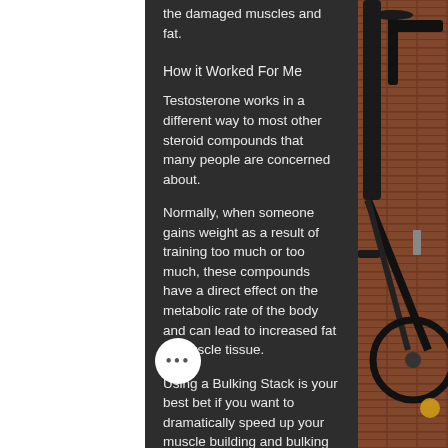the damaged muscles and fat.
How it Worked For Me
Testosterone works in a different way to most other steroid compounds that many people are concerned about.
Normally, when someone gains weight as a result of training too much or too much, these compounds have a direct effect on the metabolic rate of the body and can lead to increased fat or muscle tissue.
Using a Bulking Stack is your best bet if you want to dramatically speed up your muscle building and bulking process. This method of training is based on the premise that your body is going to require a certain amount of
[Figure (photo): Bicycle leaning against a brick wall, showing the frame, handlebars, and wheel detail in dark tones.]